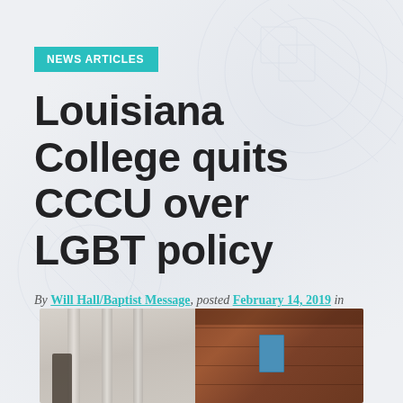NEWS ARTICLES
Louisiana College quits CCCU over LGBT policy
By Will Hall/Baptist Message, posted February 14, 2019 in
[Figure (photo): Photo of a college building exterior showing white columns on the left side and a brick building on the right side with a blue door visible]